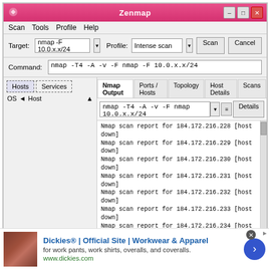[Figure (screenshot): Zenmap GUI application showing an intense scan of 10.0.x.x/24 network range. The output displays multiple Nmap scan reports for hosts 184.172.216.228 through 184.172.216.249, all showing [host down]. The interface shows tabs for Nmap Output, Ports/Hosts, Topology, Host Details, Scans. Target field shows 'nmap -F 10.0.x.x/24', Profile shows 'Intense scan'. Command: nmap -T4 -A -v -F nmap -F 10.0.x.x/24.]
[Figure (screenshot): Advertisement banner for Dickies Official Site - Workwear and Apparel. Shows 'for work pants, work shirts, overalls, and coveralls.' with URL www.dickies.com and a blue circular arrow button.]